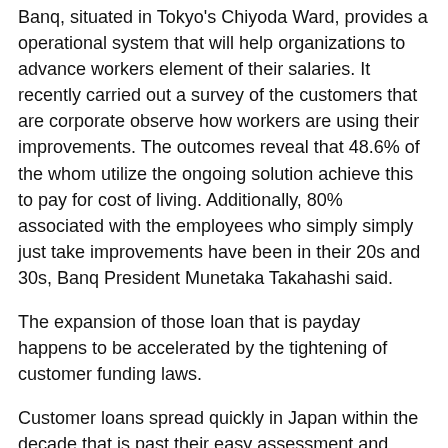Banq, situated in Tokyo's Chiyoda Ward, provides a operational system that will help organizations to advance workers element of their salaries. It recently carried out a survey of the customers that are corporate observe how workers are using their improvements. The outcomes reveal that 48.6% of the whom utilize the ongoing solution achieve this to pay for cost of living. Additionally, 80% associated with the employees who simply simply just take improvements have been in their 20s and 30s, Banq President Munetaka Takahashi said.
The expansion of those loan that is payday happens to be accelerated by the tightening of customer funding laws.
Customer loans spread quickly in Japan within the decade that is past their easy assessment and simplicity of acquiring money. Yet the excessive interest levels became a social problem, together with government started managing moneylenders by launching a financing limit.
...